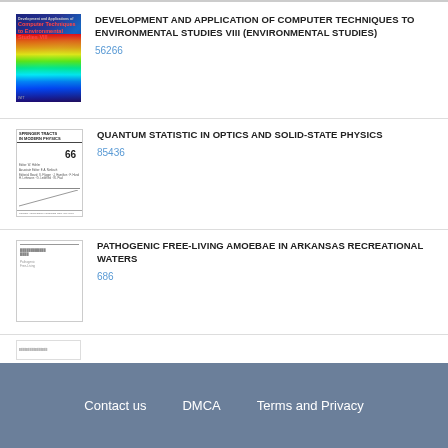[Figure (illustration): Book cover: Development and Application of Computer Techniques to Environmental Studies VIII, colorful gradient cover with rainbow/wave design]
DEVELOPMENT AND APPLICATION OF COMPUTER TECHNIQUES TO ENVIRONMENTAL STUDIES VIII (ENVIRONMENTAL STUDIES)
56266
[Figure (illustration): Book cover: Springer Tracts in Modern Physics, Volume 66, white cover with text]
QUANTUM STATISTIC IN OPTICS AND SOLID-STATE PHYSICS
85436
[Figure (illustration): Book cover: Pathogenic Free-Living Amoebae in Arkansas Recreational Waters, simple text cover]
PATHOGENIC FREE-LIVING AMOEBAE IN ARKANSAS RECREATIONAL WATERS
686
Contact us   DMCA   Terms and Privacy